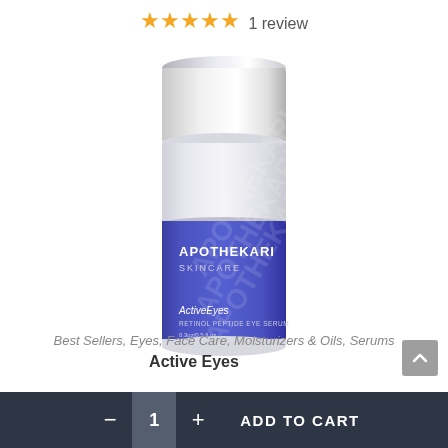★★★★★ 1 review
[Figure (photo): Apothekari Skincare ActiveEyes Retinol Peptide Eye Serum product bottle — cylindrical container with white cap and blue label.]
Best Sellers, Eyes, Face Care, Moisturizers & Oils, Serums
Active Eyes